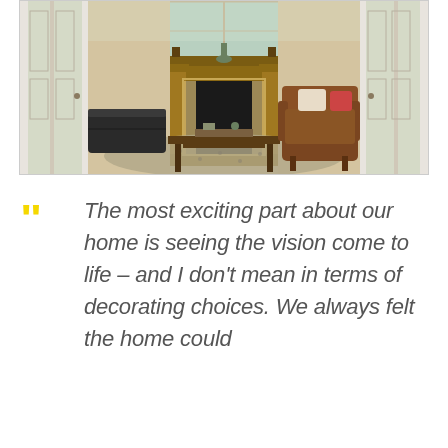[Figure (photo): Interior living room photo showing a fireplace with ornate wooden mantelpiece, a wooden coffee table, leather ottoman/couch on the left, brown leather armchair on the right with decorative pillows, patterned area rug, and French doors open on both sides with garden visible outside.]
The most exciting part about our home is seeing the vision come to life – and I don't mean in terms of decorating choices. We always felt the home could